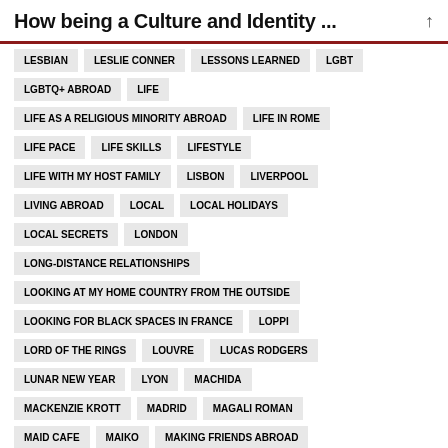How being a Culture and Identity ...
LESBIAN
LESLIE CONNER
LESSONS LEARNED
LGBT
LGBTQ+ ABROAD
LIFE
LIFE AS A RELIGIOUS MINORITY ABROAD
LIFE IN ROME
LIFE PACE
LIFE SKILLS
LIFESTYLE
LIFE WITH MY HOST FAMILY
LISBON
LIVERPOOL
LIVING ABROAD
LOCAL
LOCAL HOLIDAYS
LOCAL SECRETS
LONDON
LONG-DISTANCE RELATIONSHIPS
LOOKING AT MY HOME COUNTRY FROM THE OUTSIDE
LOOKING FOR BLACK SPACES IN FRANCE
LOPPI
LORD OF THE RINGS
LOUVRE
LUCAS RODGERS
LUNAR NEW YEAR
LYON
MACHIDA
MACKENZIE KROTT
MADRID
MAGALI ROMAN
MAID CAFE
MAIKO
MAKING FRIENDS ABROAD